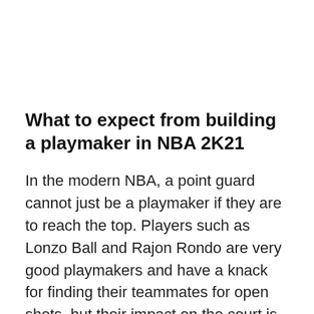What to expect from building a playmaker in NBA 2K21
In the modern NBA, a point guard cannot just be a playmaker if they are to reach the top. Players such as Lonzo Ball and Rajon Rondo are very good playmakers and have a knack for finding their teammates for open shots, but their impact on the court is limited by their lack of other offensive skills.